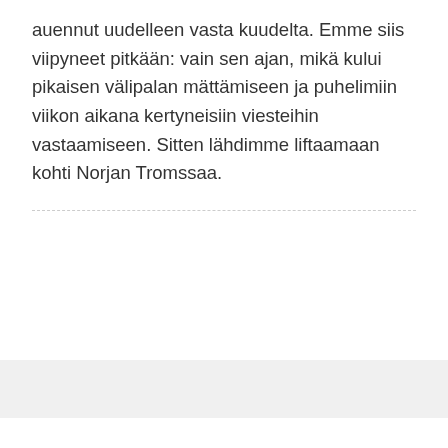auennut uudelleen vasta kuudelta. Emme siis viipyneet pitkään: vain sen ajan, mikä kului pikaisen välipalan mättämiseen ja puhelimiin viikon aikana kertyneisiin viesteihin vastaamiseen. Sitten lähdimme liftaamaan kohti Norjan Tromssaa.
Kungsleden, Part 3: Sälka–Tjäktja–Alesjaure
NOVEMBER 7, 2017